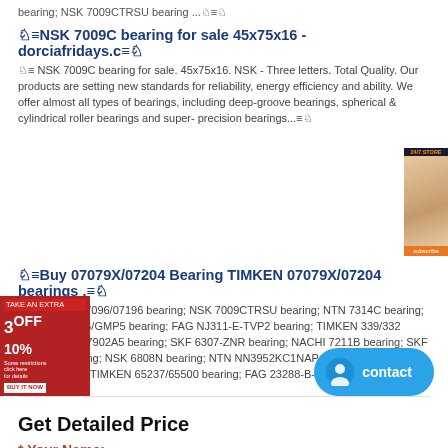bearing; NSK 7009CTRSU bearing ...
NSK 7009C bearing for sale 45x75x16 - dorciafridays.c
NSK 7009C bearing for sale. 45x75x16. NSK - Three letters. Total Quality. Our products are setting new standards for reliability, energy efficiency and ability. We offer almost all types of bearings, including deep-groove bearings, spherical & cylindrical roller bearings and super- precision bearings...
[Figure (photo): Advertisement overlay - left side red coupon with 3OFF 10% discount, right side woman portrait with orange button]
Buy 07079X/07204 Bearing TIMKEN 07079X/07204 bearings .
NTN 4T-07096/07196 bearing; NSK 7009CTRSU bearing; NTN 7314C bearing; NTN 7224CDB/GMP5 bearing; FAG NJ311-E-TVP2 bearing; TIMKEN 339/332 bearing; NSK 7902A5 bearing; SKF 6307-ZNR bearing; NACHI 7211B bearing; SKF 6024-2Z bearing; NSK 6808N bearing; NTN NN3952KC1NAP4 bearing; KOYO N310 bearing; TIMKEN 65237/65500 bearing; FAG 23288-B-K-MB ...
Get Detailed Price
* Your Name: